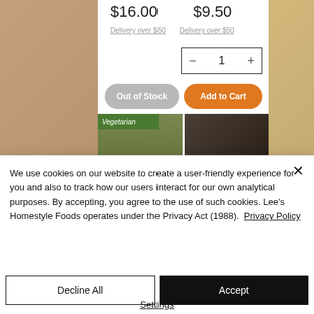[Figure (screenshot): E-commerce product page showing two items with prices $16.00 and $9.50, both with 'Delivery over $50' text, a quantity selector showing 1, an 'Out of Stock' gray button, an 'Add to Cart' orange button, and two food product images below including one labeled 'Vegetarian']
We use cookies on our website to create a user-friendly experience for you and also to track how our users interact for our own analytical purposes. By accepting, you agree to the use of such cookies. Lee's Homestyle Foods operates under the Privacy Act (1988).  Privacy Policy
Decline All
Accept
Settings